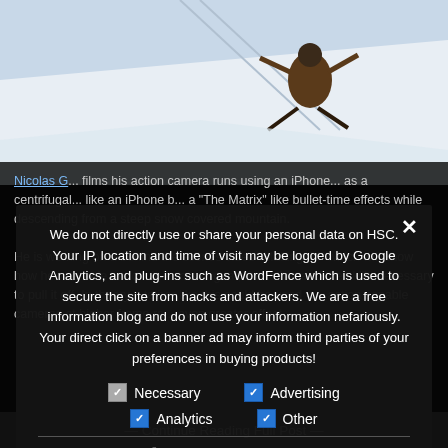[Figure (photo): A skier or snowboarder filmed from above on a steep snow-covered mountain slope]
Nicolas [Girard] films his action camera runs using an iPhone attached using a centrifugal...like bullet-time effects while descending from a steep snow covered mountain.
We do not directly use or share your personal data on HSC. Your IP, location and time of visit may be logged by Google Analytics, and plug-ins such as WordFence which is used to secure the site from hacks and attackers. We are a free information blog and do not use your information nefariously. Your direct click on a banner ad may inform third parties of your preferences in buying products!
Necessary
Advertising
Analytics
Other
Privacy Preferences
I Agree
He is working on a behind the scenes video "Making Of" which will show how he was able to do it in terms of gear, the tether and the skills necessary to pull it off. In theory a tether like this could be used with action cameras capable at higher frame rates for even greater effect.
— Continue Reading Full Post —